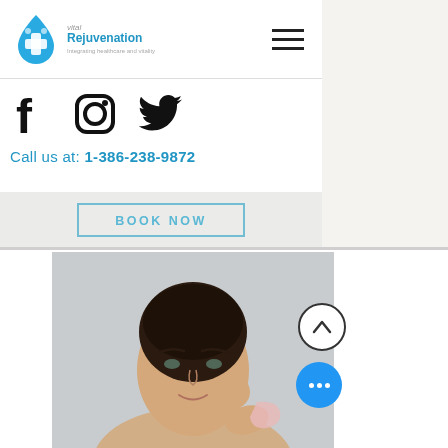[Figure (logo): Vital Rejuvenation logo with blue water drop graphic and text 'Vital Rejuvenation - Integrating healthcare and vitality']
[Figure (infographic): Hamburger menu icon (three horizontal lines) indicating navigation menu]
[Figure (infographic): Social media icons row: Facebook, Instagram, Twitter]
Call us at: 1-386-238-9872
BOOK NOW
[Figure (photo): Middle-aged woman with dark hair pulled back, holding a pink gua sha stone to her cheek, looking at the camera with a subtle smile, against a light grey background]